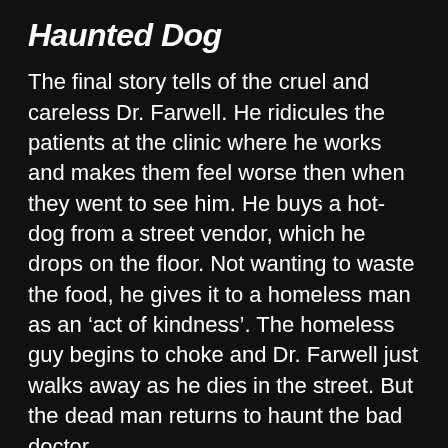Haunted Dog
The final story tells of the cruel and careless Dr. Farwell. He ridicules the patients at the clinic where he works and makes them feel worse then when they went to see him. He buys a hot-dog from a street vendor, which he drops on the floor. Not wanting to waste the food, he gives it to a homeless man as an 'act of kindness'. The homeless guy begins to choke and Dr. Farwell just walks away as he dies in the street. But the dead man returns to haunt the bad doctor.